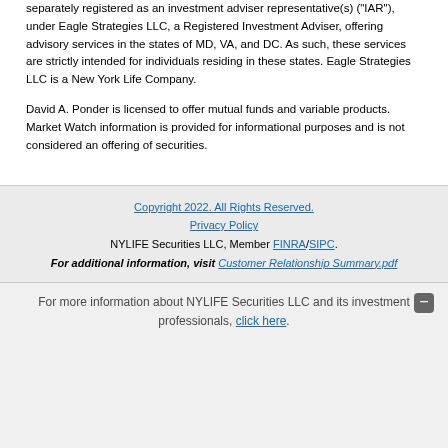separately registered as an investment adviser representative(s) ("IAR"), under Eagle Strategies LLC, a Registered Investment Adviser, offering advisory services in the states of MD, VA, and DC. As such, these services are strictly intended for individuals residing in these states. Eagle Strategies LLC is a New York Life Company.
David A. Ponder is licensed to offer mutual funds and variable products. Market Watch information is provided for informational purposes and is not considered an offering of securities.
Copyright 2022. All Rights Reserved. Privacy Policy NYLIFE Securities LLC, Member FINRA/SIPC. For additional information, visit Customer Relationship Summary.pdf
For more information about NYLIFE Securities LLC and its investment professionals, click here.